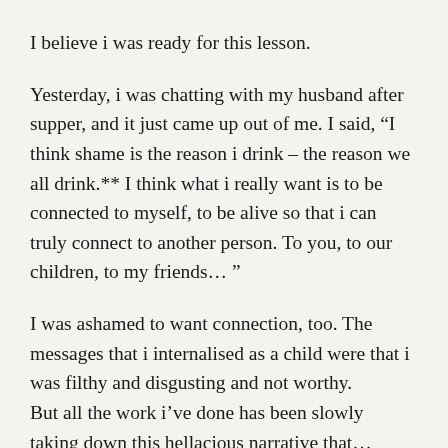I believe i was ready for this lesson.
Yesterday, i was chatting with my husband after supper, and it just came up out of me. I said, “I think shame is the reason i drink – the reason we all drink.** I think what i really want is to be connected to myself, to be alive so that i can truly connect to another person. To you, to our children, to my friends… ”
I was ashamed to want connection, too. The messages that i internalised as a child were that i was filthy and disgusting and not worthy.
But all the work i’ve done has been slowly taking down this hellacious narrative that…